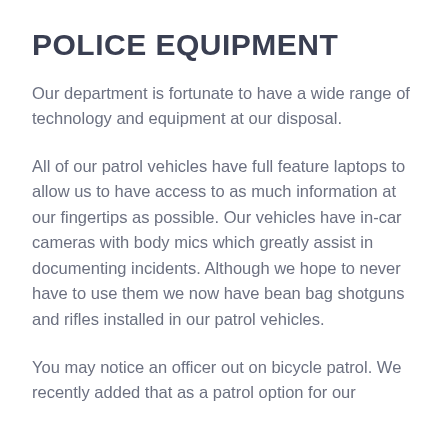POLICE EQUIPMENT
Our department is fortunate to have a wide range of technology and equipment at our disposal.
All of our patrol vehicles have full feature laptops to allow us to have access to as much information at our fingertips as possible. Our vehicles have in-car cameras with body mics which greatly assist in documenting incidents. Although we hope to never have to use them we now have bean bag shotguns and rifles installed in our patrol vehicles.
You may notice an officer out on bicycle patrol. We recently added that as a patrol option for our